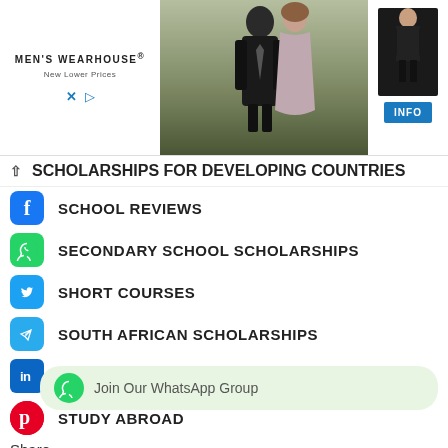[Figure (screenshot): Men's Wearhouse advertisement banner with couple in formal wear and suited man, INFO button]
SCHOLARSHIPS FOR DEVELOPING COUNTRIES
SCHOOL REVIEWS
SECONDARY SCHOOL SCHOLARSHIPS
SHORT COURSES
SOUTH AFRICAN SCHOLARSHIPS
STUDENT LOANS
STUDY ABROAD
Share
STUDY IN AFRICA
STUDY IN ASIA
Join Our WhatsApp Group
STUDY IN AUSTRALIA